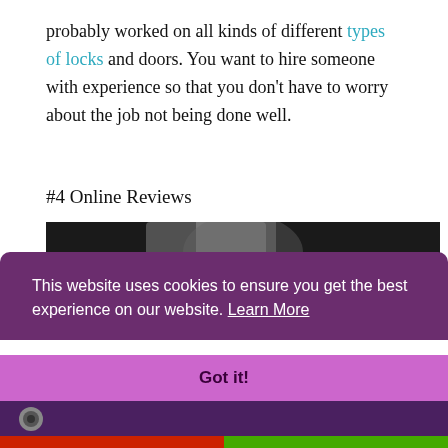probably worked on all kinds of different types of locks and doors. You want to hire someone with experience so that you don't have to worry about the job not being done well.
#4 Online Reviews
[Figure (photo): Dark close-up photo, partially obscured by cookie consent overlay]
This website uses cookies to ensure you get the best experience on our website. Learn More
Got it!